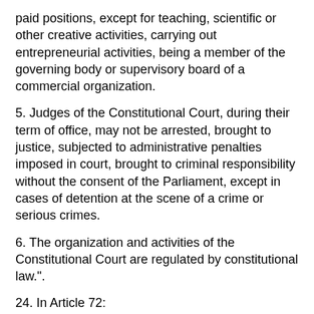paid positions, except for teaching, scientific or other creative activities, carrying out entrepreneurial activities, being a member of the governing body or supervisory board of a commercial organization.
5. Judges of the Constitutional Court, during their term of office, may not be arrested, brought to justice, subjected to administrative penalties imposed in court, brought to criminal responsibility without the consent of the Parliament, except in cases of detention at the scene of a crime or serious crimes.
6. The organization and activities of the Constitutional Court are regulated by constitutional law.".
24. In Article 72:
1) in paragraphs 1 and 2 the word "Council" shall be replaced by the word "Court";
2) add paragraphs 3, 4 and 5 with the following